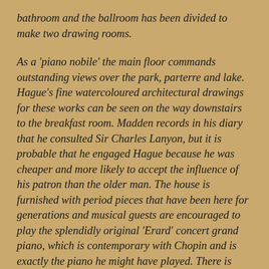bathroom and the ballroom has been divided to make two drawing rooms.
As a 'piano nobile' the main floor commands outstanding views over the park, parterre and lake. Hague's fine watercoloured architectural drawings for these works can be seen on the way downstairs to the breakfast room. Madden records in his diary that he consulted Sir Charles Lanyon, but it is probable that he engaged Hague because he was cheaper and more likely to accept the influence of his patron than the older man. The house is furnished with period pieces that have been here for generations and musical guests are encouraged to play the splendidly original 'Erard' concert grand piano, which is contemporary with Chopin and is exactly the piano he might have played. There is also a fine chimney piece that Colonel John brought back from Naples in his yacht in the first decade of the 19th Century. Through the back windows the colonnaded ride